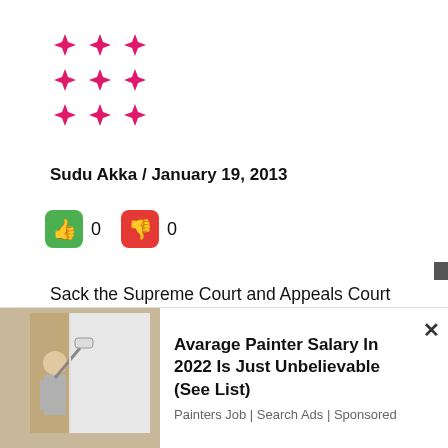[Figure (logo): Decorative red starburst/asterisk pattern logo made of diamond/arrow shapes arranged in a 3x3 grid pattern]
Sudu Akka / January 19, 2013
[Figure (infographic): Green thumbs-up button with count 0, red thumbs-down button with count 0]
Sack the Supreme Court and Appeals Court Judges! In the Philippines the government sacked the Chief Justice and no western country uttered a word against it. In Sri Lanka the Diaspora and Sinhala Traitors have joined hands to pursue their own agendas.Here we go again! The dogs bark but the caravan moves
[Figure (photo): Advertisement image showing a person painting a wall white in a room]
Avarage Painter Salary In 2022 Is Just Unbelievable (See List)
Painters Job | Search Ads | Sponsored